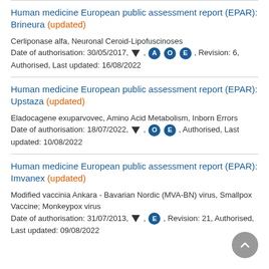Human medicine European public assessment report (EPAR): Brineura (updated)
Cerliponase alfa, Neuronal Ceroid-Lipofuscinoses Date of authorisation: 30/05/2017, ▼, A, O, E, Revision: 6, Authorised, Last updated: 16/08/2022
Human medicine European public assessment report (EPAR): Upstaza (updated)
Eladocagene exuparvovec, Amino Acid Metabolism, Inborn Errors Date of authorisation: 18/07/2022, ▼, O, E, Authorised, Last updated: 10/08/2022
Human medicine European public assessment report (EPAR): Imvanex (updated)
Modified vaccinia Ankara - Bavarian Nordic (MVA-BN) virus, Smallpox Vaccine; Monkeypox virus Date of authorisation: 31/07/2013, ▼, E, Revision: 21, Authorised, Last updated: 09/08/2022